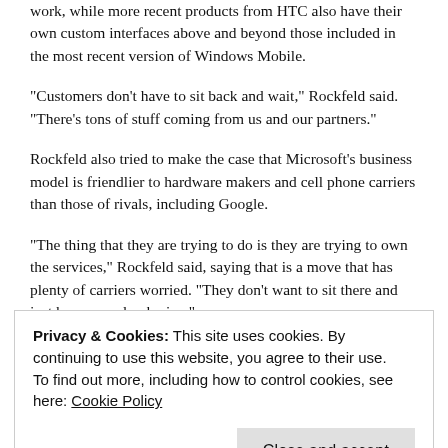work, while more recent products from HTC also have their own custom interfaces above and beyond those included in the most recent version of Windows Mobile.
"Customers don't have to sit back and wait," Rockfeld said. "There's tons of stuff coming from us and our partners."
Rockfeld also tried to make the case that Microsoft's business model is friendlier to hardware makers and cell phone carriers than those of rivals, including Google.
"The thing that they are trying to do is they are trying to own the services," Rockfeld said, saying that is a move that has plenty of carriers worried. "They don't want to sit there and just become a dumb pipe."
Microsoft, he said, is willing to work with carriers to power their own services. "We're happy sharing the limelight," he said.
Privacy & Cookies: This site uses cookies. By continuing to use this website, you agree to their use.
To find out more, including how to control cookies, see here: Cookie Policy
Close and accept
we're going on Windows Mobile 7, which is the next major release of